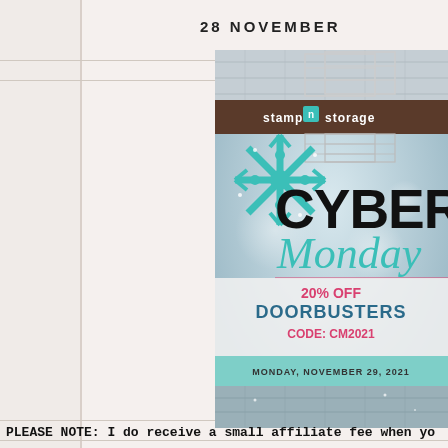28 NOVEMBER
[Figure (illustration): Stamp n Storage Cyber Monday promotional ad showing a glittery teal snowflake, 'CYBER Monday' text, '20% OFF DOORBUSTERS CODE: CM2021', 'MONDAY, NOVEMBER 29, 2021', with shelving units and winter wood fence background]
PLEASE NOTE:  I do receive a small affiliate fee when yo